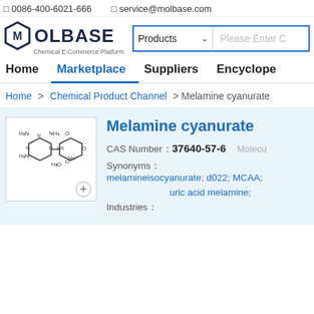0086-400-6021-666   service@molbase.com
[Figure (logo): Molbase hexagon logo with text MOLBASE Chemical E-Commerce Platform]
Products (dropdown)   Please Enter C...
Home   Marketplace   Suppliers   Encyclopedia
Home > Chemical Product Channel > Melamine cyanurate
Melamine cyanurate
[Figure (illustration): Chemical structure of Melamine cyanurate molecule]
CAS Number：37640-57-6   Molecu...
Synonyms：melamineisocyanurate;  d022;  MCAA; uric acid melamine;
Industries：